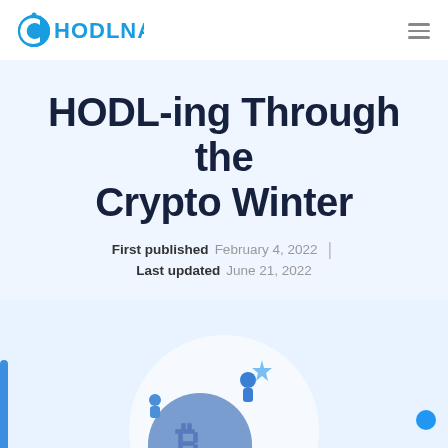HODLNAUT
HODL-ing Through the Crypto Winter
First published  February 4, 2022  |  Last updated  June 21, 2022
[Figure (illustration): Illustration of a Bitcoin coin with small crypto character figures on a globe/circle background, blue tones]